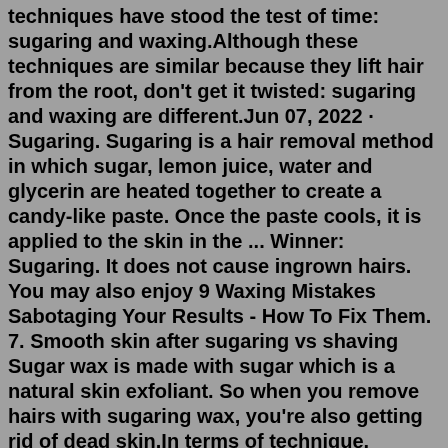techniques have stood the test of time: sugaring and waxing.Although these techniques are similar because they lift hair from the root, don't get it twisted: sugaring and waxing are different.Jun 07, 2022 · Sugaring. Sugaring is a hair removal method in which sugar, lemon juice, water and glycerin are heated together to create a candy-like paste. Once the paste cools, it is applied to the skin in the ... Winner: Sugaring. It does not cause ingrown hairs. You may also enjoy 9 Waxing Mistakes Sabotaging Your Results - How To Fix Them. 7. Smooth skin after sugaring vs shaving Sugar wax is made with sugar which is a natural skin exfoliant. So when you remove hairs with sugaring wax, you're also getting rid of dead skin.In terms of technique, sugaring paste is molded onto the skin using a gloved hand then removed, while wax can be used with a strip or alone." Sugaring is also able to remove shorter hair—it only has to be 1/16th of an inch—than waxing can, as to get waxed your hair has to be at least a half-inch.Sugaring is best for people with skin allergies,